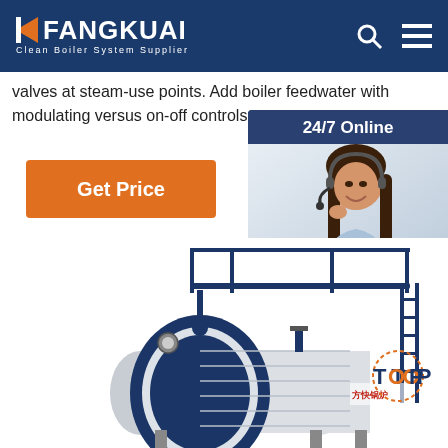FANGKUAI - Clean Boiler System Supplier
valves at steam-use points. Add boiler feedwater with modulating versus on-off controls.
[Figure (screenshot): Orange 'Get Price' button]
[Figure (photo): 24/7 Online customer service representative with headset, with 'Click here for free chat!' text and orange QUOTATION button below]
[Figure (photo): Industrial horizontal boiler unit with blue metal frame, walkway rails, and 方快锅炉 (Fangkuai Boiler) logo on side. TOP badge in bottom right corner.]